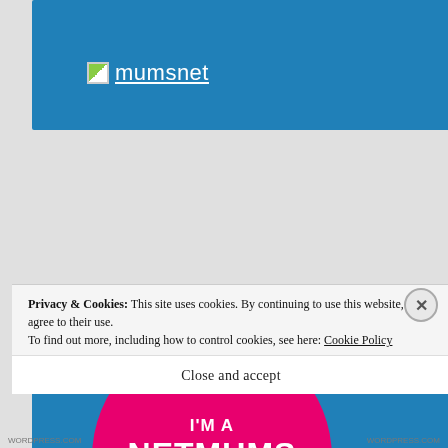[Figure (screenshot): Mumsnet website header banner with white Mumsnet logo text on a blue background]
[Figure (screenshot): Blue banner with a large pink circle containing white bold text: I'M A NETMUMS INFLUENCER]
Privacy & Cookies: This site uses cookies. By continuing to use this website, you agree to their use. To find out more, including how to control cookies, see here: Cookie Policy
Close and accept